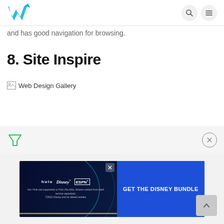W logo, search icon, menu icon
and has good navigation for browsing.
8. Site Inspire
[Figure (other): Broken image placeholder labeled 'Web Design Gallery']
[Figure (other): Advertisement banner for Disney Bundle featuring Hulu, Disney+, ESPN+ logos with 'GET THE DISNEY BUNDLE' call to action and fine print: 'Incl. Hulu (ad-supported) or Hulu (No Ads). Access content from each service separately. ©2021 Disney and its related entities']